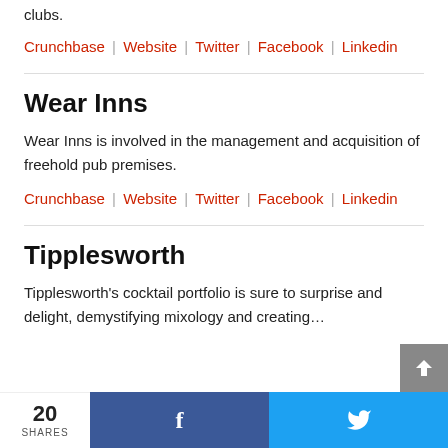clubs.
Crunchbase | Website | Twitter | Facebook | Linkedin
Wear Inns
Wear Inns is involved in the management and acquisition of freehold pub premises.
Crunchbase | Website | Twitter | Facebook | Linkedin
Tipplesworth
Tipplesworth's cocktail portfolio is sure to surprise and delight, demystifying mixology and creating…
20 SHARES  [Facebook]  [Twitter]